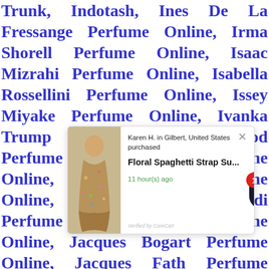Trunk, Indotash, Ines De La Fressange Perfume Online, Irma Shorell Perfume Online, Isaac Mizrahi Perfume Online, Isabella Rossellini Perfume Online, Issey Miyake Perfume Online, Ivanka Trump Perfume Online, Izod Perfume Online, J. Crew Perfume Online, J. Dessange Perfume Online, JT International, Jacadi Perfume Online, Jacomo Perfume Online, Jacques Bogart Perfume Online, Jacques Fath Perfume Online, Jaguar Perfume Online, James Bond Perfume Online, ... Perfume Online, Jane Seymour Perfume Online, Jean ... Perfume Online, Jean Couturier Perfume Online, Jean Sprez Perfume Online, Jean Feraud Perfume Online
[Figure (other): A popup notification overlay showing a recent purchase by Karen H. in Gilbert, United States of 'Floral Spaghetti Strap Su...' 11 hour(s) ago, with a product image of a floral dress and a red notification badge showing '1'. Verified by CoreCart.]